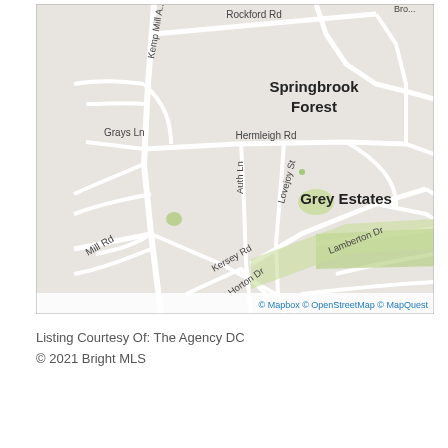[Figure (map): Street map centered on Grey Estates neighborhood, showing roads including Rockford Rd, Kemp Mill Ave, Grays Ln, Hermleigh Rd, Auth Ln, Lovejoy St, Lamberton Dr, Kersey Rd, Horton Dr, Mill Rd, and neighborhoods Springbrook Forest and Grey Estates. Map credit: Mapbox, OpenStreetMap, MapQuest.]
Listing Courtesy Of: The Agency DC
© 2021 Bright MLS